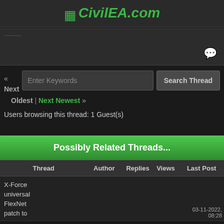CivilEA.com
[Figure (screenshot): Dark chat/message input area with a speech bubble icon on the right]
« Next | Oldest | Next Newest »  [Enter Keywords] [Search Thread]
Users browsing this thread: 1 Guest(s)
Possibly Related Threads...
| Thread | Author | Replies | Views | Last Post |
| --- | --- | --- | --- | --- |
| X-Force universal FlexNet patch to |  |  |  | 03-11-2022, 08:28 |